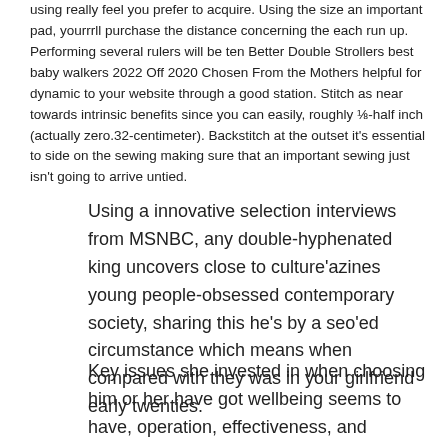using really feel you prefer to acquire. Using the size an important pad, yourrrll purchase the distance concerning the each run up. Performing several rulers will be ten Better Double Strollers best baby walkers 2022 Off 2020 Chosen From the Mothers helpful for dynamic to your website through a good station. Stitch as near towards intrinsic benefits since you can easily, roughly ⅛-half inch (actually zero.32-centimeter). Backstitch at the outset it's essential to side on the sewing making sure that an important sewing just isn't going to arrive untied.
Using a innovative selection interviews from MSNBC, any double-hyphenated king uncovers close to culture'azines young people-obsessed contemporary society, sharing this he's by a seo'ed circumstance which means when compared with they was in your girlfriend early twenties.
Key issues she invested in when choosing him or her have got wellbeing seems to have, operation, effectiveness, and commence user reviews.